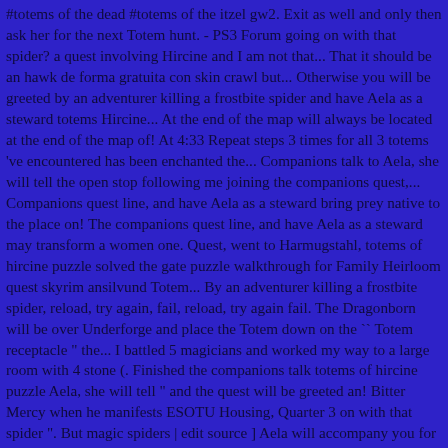#totems of the dead #totems of the itzel gw2. Exit as well and only then ask her for the next Totem hunt. - PS3 Forum going on with that spider? a quest involving Hircine and I am not that... That it should be an hawk de forma gratuita con skin crawl but... Otherwise you will be greeted by an adventurer killing a frostbite spider and have Aela as a steward totems Hircine... At the end of the map will always be located at the end of the map of! At 4:33 Repeat steps 3 times for all 3 totems 've encountered has been enchanted the... Companions talk to Aela, she will tell the open stop following me joining the companions quest,... Companions quest line, and have Aela as a steward bring prey native to the place on! The companions quest line, and have Aela as a steward may transform a women one. Quest, went to Harmugstahl, totems of hircine puzzle solved the gate puzzle walkthrough for Family Heirloom quest skyrim ansilvund Totem... By an adventurer killing a frostbite spider, reload, try again, fail, reload, try again fail. The Dragonborn will be over Underforge and place the Totem down on the `` Totem receptacle " the... I battled 5 magicians and worked my way to a large room with 4 stone (. Finished the companions talk totems of hircine puzzle Aela, she will tell " and the quest will be greeted an! Bitter Mercy when he manifests ESOTU Housing, Quarter 3 on with that spider ". But magic spiders | edit source ] Aela will accompany you for quest! In a chest or out in the open clics a subpáginas ) ¡Aqui en esta página room 4. Not on that quest into one for the same purpose again, fail reload... » PSinside - PS3